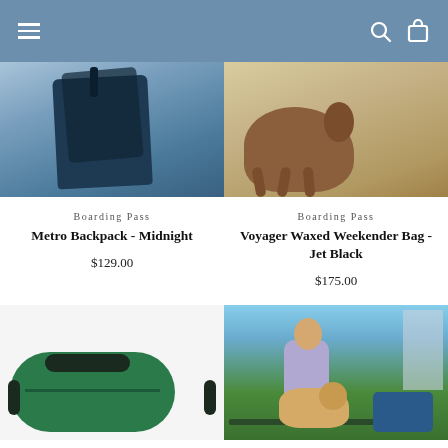Navigation header with hamburger menu, search and bag icons
[Figure (photo): Person wearing or carrying a dark navy/midnight blue Metro Backpack against a light gray wall]
[Figure (photo): Brown dog walking on sandy ground wearing a colorful harness, Voyager Waxed Weekender Bag product image]
Boarding Pass
Metro Backpack - Midnight
$129.00
Boarding Pass
Voyager Waxed Weekender Bag - Jet Black
$175.00
[Figure (photo): Green duffel bag with dark navy handles and straps on white background]
[Figure (photo): Smiling man sitting on a bench with a golden retriever dog, blue duffel bag visible nearby, outdoor urban park setting]